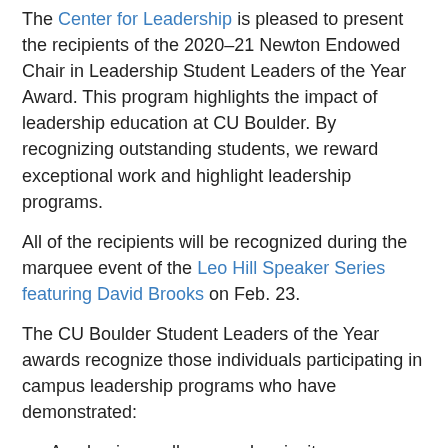The Center for Leadership is pleased to present the recipients of the 2020–21 Newton Endowed Chair in Leadership Student Leaders of the Year Award. This program highlights the impact of leadership education at CU Boulder. By recognizing outstanding students, we reward exceptional work and highlight leadership programs.
All of the recipients will be recognized during the marquee event of the Leo Hill Speaker Series featuring David Brooks on Feb. 23.
The CU Boulder Student Leaders of the Year awards recognize those individuals participating in campus leadership programs who have demonstrated:
Academic excellence and curiosity
Extraordinary support to and innovation within campus leadership programs